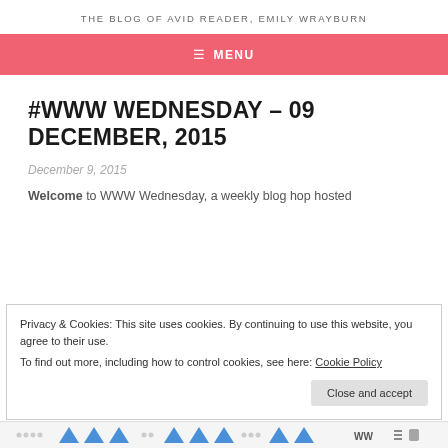THE BLOG OF AVID READER, EMILY WRAYBURN
≡ MENU
#WWW WEDNESDAY – 09 DECEMBER, 2015
December 9, 2015
Welcome to WWW Wednesday, a weekly blog hop hosted
Privacy & Cookies: This site uses cookies. By continuing to use this website, you agree to their use.
To find out more, including how to control cookies, see here: Cookie Policy
Close and accept